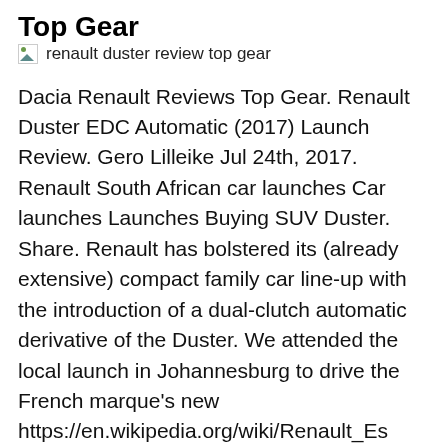Top Gear
[Figure (photo): Broken image placeholder with alt text: renault duster review top gear]
Dacia Renault Reviews Top Gear. Renault Duster EDC Automatic (2017) Launch Review. Gero Lilleike Jul 24th, 2017. Renault South African car launches Car launches Launches Buying SUV Duster. Share. Renault has bolstered its (already extensive) compact family car line-up with the introduction of a dual-clutch automatic derivative of the Duster. We attended the local launch in Johannesburg to drive the French marque's new https://en.wikipedia.org/wiki/Renault_Espace_F1 Renault Duster Price (GST